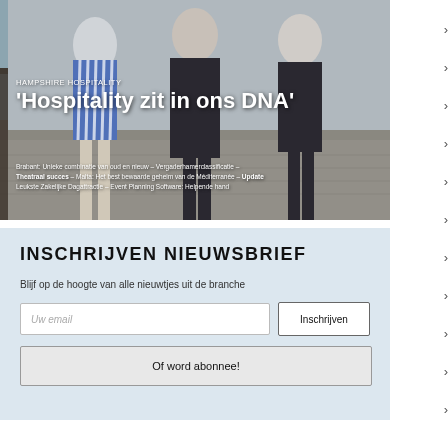[Figure (photo): Magazine cover photo showing three people (two women and a man) standing outdoors on a cobblestone path. Text overlay includes 'HAMPSHIRE HOSPITALITY' and the headline ''Hospitality zit in ons DNA'' along with article teaser text.]
INSCHRIJVEN NIEUWSBRIEF
Blijf op de hoogte van alle nieuwtjes uit de branche
Uw email | Inschrijven
Of word abonnee!